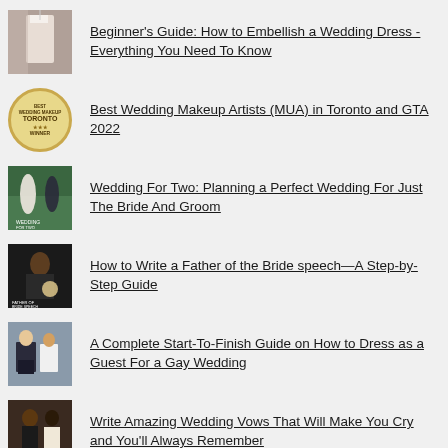Beginner's Guide: How to Embellish a Wedding Dress - Everything You Need To Know
Best Wedding Makeup Artists (MUA) in Toronto and GTA 2022
Wedding For Two: Planning a Perfect Wedding For Just The Bride And Groom
How to Write a Father of the Bride speech—A Step-by-Step Guide
A Complete Start-To-Finish Guide on How to Dress as a Guest For a Gay Wedding
Write Amazing Wedding Vows That Will Make You Cry and You'll Always Remember